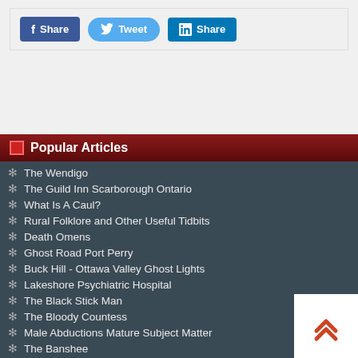[Figure (screenshot): Social sharing buttons: Facebook Share (blue rectangle), Tweet (Twitter blue rounded), LinkedIn Share (blue rectangle)]
Popular Articles
The Wendigo
The Guild Inn Scarborough Ontario
What Is A Caul?
Rural Folklore and Other Useful Tidbits
Death Omens
Ghost Road Port Perry
Buck Hill - Ottawa Valley Ghost Lights
Lakeshore Psychiatric Hospital
The Black Stick Man
The Bloody Countess
Male Abductions Mature Subject Matter
The Banshee
Mackenzie House
The Vampire in Ontario
The Vampire, Chronicled...
The Haunting Of Oak Hill
Toronto Tunnel Monster
Kempenfelt Bay
Animal Apparitions